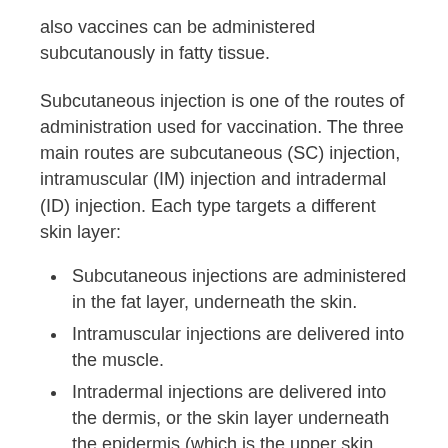also vaccines can be administered subcutanously in fatty tissue.
Subcutaneous injection is one of the routes of administration used for vaccination. The three main routes are subcutaneous (SC) injection, intramuscular (IM) injection and intradermal (ID) injection. Each type targets a different skin layer:
Subcutaneous injections are administered in the fat layer, underneath the skin.
Intramuscular injections are delivered into the muscle.
Intradermal injections are delivered into the dermis, or the skin layer underneath the epidermis (which is the upper skin layer). The dermis is, on most places of the human body,